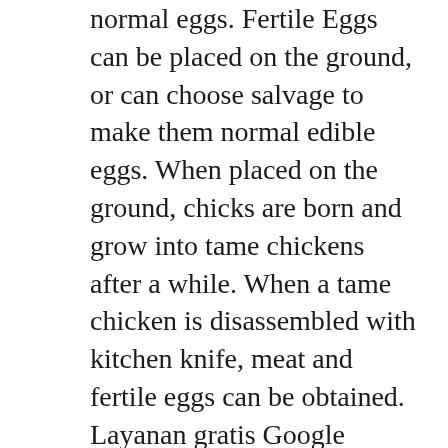normal eggs. Fertile Eggs can be placed on the ground, or can choose salvage to make them normal edible eggs. When placed on the ground, chicks are born and grow into tame chickens after a while. When a tame chicken is disassembled with kitchen knife, meat and fertile eggs can be obtained. Layanan gratis Google secara instan menerjemahkan kata, frasa, dan halaman web antara bahasa Inggris dan lebih dari 100 bahasa lainnya. This is where you save/load your characters! (Destination Path: C:// > This PC > Wherever you have Koikatsu saved > UserData > chara > female; same route for males) ♦ How to Save ♦. #1 - Click on Save/Delete Character. #2 - Select Save New. The option is near to your far left. ♦ Picture Taking ♦. 582,977 Aug 01,22 Shimizu Reiko. From ShoujoMagic: On Kabuchi-jima, an island ruled by Princess Kaguya, ten children were raised as sacrificial victims. Several of the children thought they had